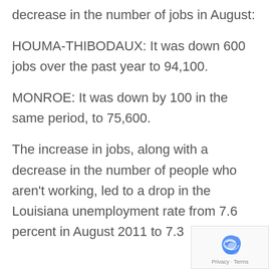decrease in the number of jobs in August:
HOUMA-THIBODAUX: It was down 600 jobs over the past year to 94,100.
MONROE: It was down by 100 in the same period, to 75,600.
The increase in jobs, along with a decrease in the number of people who aren't working, led to a drop in the Louisiana unemployment rate from 7.6 percent in August 2011 to 7.3